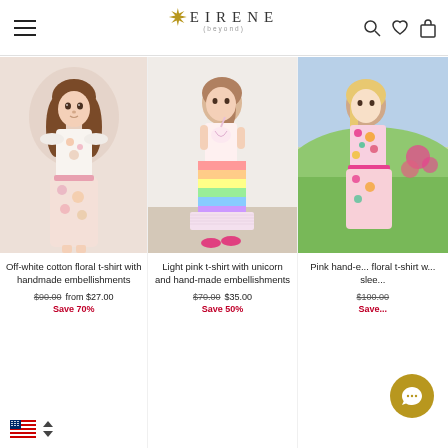EIRENE — navigation header with hamburger menu, logo, search, wishlist, and cart icons
[Figure (photo): Young girl wearing off-white cotton floral t-shirt with ruffled sleeves and handmade floral embellishments, long brown hair]
Off-white cotton floral t-shirt with handmade embellishments
$90.00  from $27.00
Save 70%
[Figure (photo): Young girl wearing light pink unicorn t-shirt with colorful striped tiered skirt and pink sneakers]
Light pink t-shirt with unicorn and hand-made embellishments
$70.00  $35.00
Save 50%
[Figure (photo): Young girl in floral t-shirt with sleeves, outdoors with flowers in background — partially cropped]
Pink hand-e... floral t-shirt w... slee...
$100.00  Save...